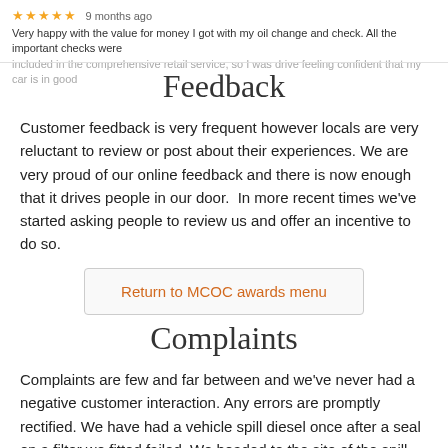[Figure (other): Star rating snippet: 5 orange stars, '9 months ago', review text about oil change and check service partially visible]
Feedback
Customer feedback is very frequent however locals are very reluctant to review or post about their experiences. We are very proud of our online feedback and there is now enough that it drives people in our door.  In more recent times we've started asking people to review us and offer an incentive to do so.
Return to MCOC awards menu
Complaints
Complaints are few and far between and we've never had a negative customer interaction. Any errors are promptly rectified. We have had a vehicle spill diesel once after a seal on a filter we fitted failed. We headed to the site of the spill. Used lime chip on the driveway to draw the stain out. Took the van away and replaced the defective filter. Then returned the following day to remove the lime chip. Once that was tidied up we used biodegradable detergent and scrubbed the